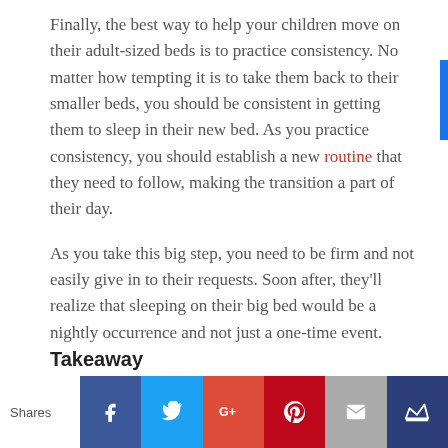Finally, the best way to help your children move on their adult-sized beds is to practice consistency. No matter how tempting it is to take them back to their smaller beds, you should be consistent in getting them to sleep in their new bed. As you practice consistency, you should establish a new routine that they need to follow, making the transition a part of their day.
As you take this big step, you need to be firm and not easily give in to their requests. Soon after, they'll realize that sleeping on their big bed would be a nightly occurrence and not just a one-time event.
Takeaway
[Figure (infographic): Social sharing bar with icons for Facebook, Twitter, Google+, Pinterest, Email, and a crown/bookmark icon. 'Shares' label on the left.]